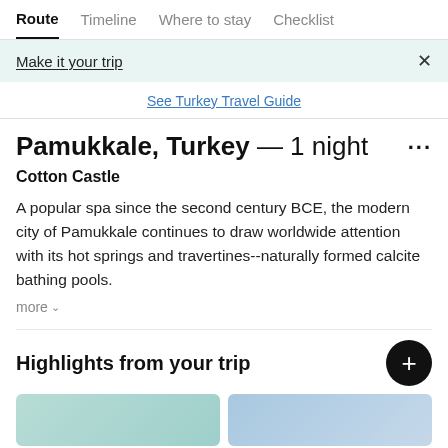Route | Timeline | Where to stay | Checklist
Make it your trip
See Turkey Travel Guide
Pamukkale, Turkey — 1 night
Cotton Castle
A popular spa since the second century BCE, the modern city of Pamukkale continues to draw worldwide attention with its hot springs and travertines--naturally formed calcite bathing pools.
more
Highlights from your trip
[Figure (photo): Two teal/blue image tiles partially visible at bottom of page]